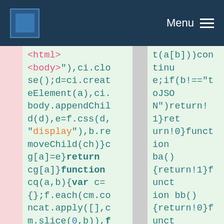Menu
[Figure (screenshot): Code screenshot showing two columns of minified JavaScript/HTML code on green background with pink left margin and dark navy nav bar at top with Menu button]
<html>
<body>"),ci.close();d=ci.createElement(a),ci.body.appendChild(d),e=f.css(d,"display"),b.removeChild(ch)}cg[a]=e}return cg[a]}function cq(a,b){var c={};f.each(cm.concat.apply([],cm.slice(0,b)),function(){c[this]=a});return c}function cp(){cn=b}function co()
t(a[b]))continue;if(b!=="toJSON")return!1}return!0}function ba(){return!1}function bb(){return!0}function bh(a){return!a||!a.parentNode||a.parentNode.nodeType===11}function bi(a,b){do a=a[b];while(a&&a.nodeType!==1);return a}function bj(a,b,c){b=b||0;if(p.is